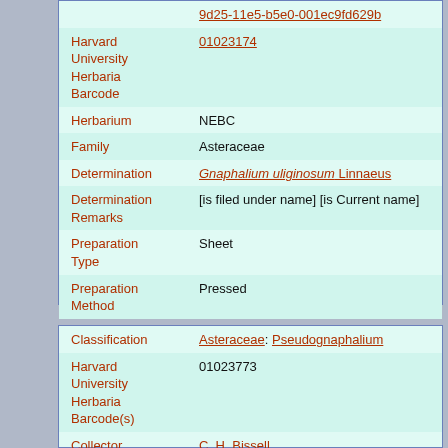|  | 9d25-11e5-b5e0-001ec9fd629b |
| Harvard University Herbaria Barcode | 01023174 |
| Herbarium | NEBC |
| Family | Asteraceae |
| Determination | Gnaphalium uliginosum Linnaeus |
| Determination Remarks | [is filed under name] [is Current name] |
| Preparation Type | Sheet |
| Preparation Method | Pressed |
| Classification | Asteraceae: Pseudognaphalium |
| Harvard University Herbaria Barcode(s) | 01023773 |
| Collector | C. H. Bissell |